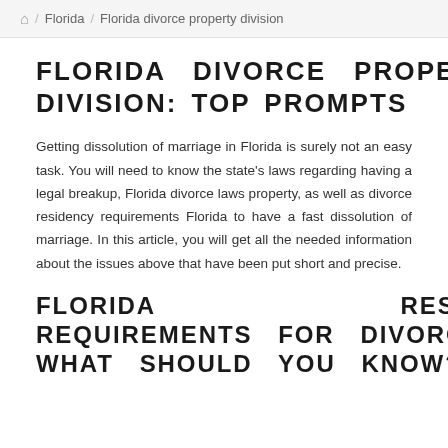🏠 / Florida / Florida divorce property division
FLORIDA DIVORCE PROPERTY DIVISION: TOP PROMPTS
Getting dissolution of marriage in Florida is surely not an easy task. You will need to know the state's laws regarding having a legal breakup, Florida divorce laws property, as well as divorce residency requirements Florida to have a fast dissolution of marriage. In this article, you will get all the needed information about the issues above that have been put short and precise.
FLORIDA RESIDENCY REQUIREMENTS FOR DIVORCE: WHAT SHOULD YOU KNOW?